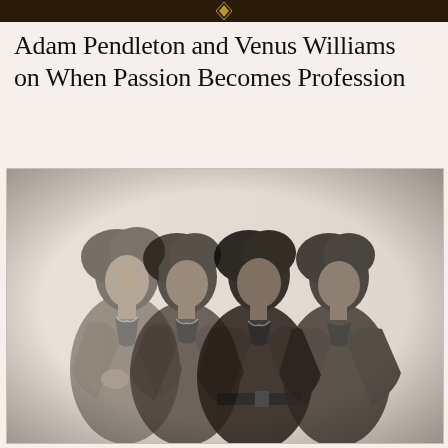Adam Pendleton and Venus Williams on When Passion Becomes Profession
[Figure (photo): Black and white multiple-exposure style photograph showing four overlapping images of a woman with curly dark hair wearing a blazer, posed in slightly different positions creating a layered visual effect]